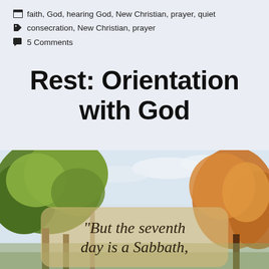faith, God, hearing God, New Christian, prayer, quiet
consecration, New Christian, prayer
5 Comments
Rest: Orientation with God
[Figure (photo): Outdoor autumn scene with trees showing fall foliage in greens, yellows and oranges, overlaid with a semi-transparent tan/gold rounded rectangle containing the beginning of a Bible quote]
“But the seventh day is a Sabbath,